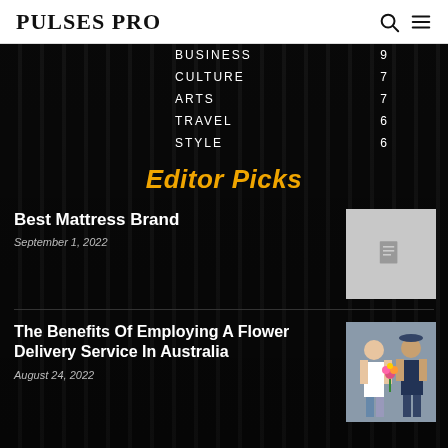PULSES PRO
BUSINESS 9
CULTURE 7
ARTS 7
TRAVEL 6
STYLE 6
Editor Picks
Best Mattress Brand
September 1, 2022
[Figure (photo): Gray placeholder image with document icon]
The Benefits Of Employing A Flower Delivery Service In Australia
August 24, 2022
[Figure (photo): Woman receiving flower delivery from delivery man]